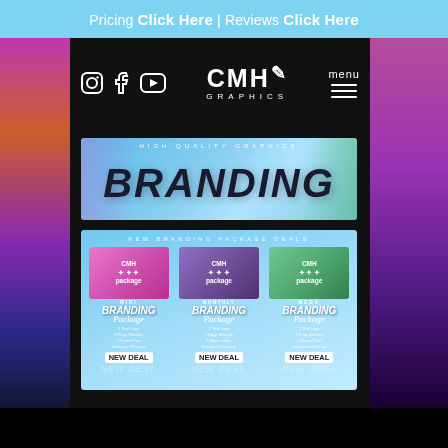Pricing Click Here | Reviews Click Here
[Figure (logo): CMH Graphics logo with social media icons (Instagram, Facebook, YouTube) and hamburger menu]
[Figure (illustration): High Quality Graphics BRANDING banner with colorful decorative elements]
[Figure (infographic): New Branding Package Deals - three packages: Mini Branding Package, Monthly Branding Package, Mega Branding Package each showing NEW DEAL]